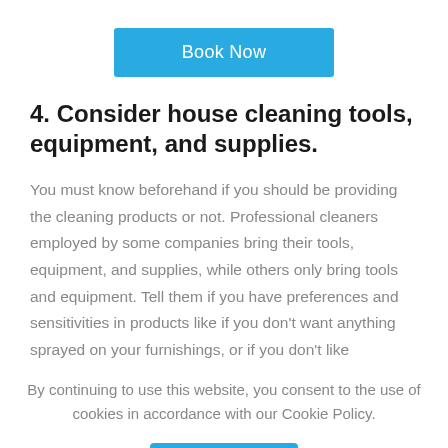[Figure (other): Blue 'Book Now' button]
4. Consider house cleaning tools, equipment, and supplies.
You must know beforehand if you should be providing the cleaning products or not. Professional cleaners employed by some companies bring their tools, equipment, and supplies, while others only bring tools and equipment. Tell them if you have preferences and sensitivities in products like if you don't want anything sprayed on your furnishings, or if you don't like
By continuing to use this website, you consent to the use of cookies in accordance with our Cookie Policy.
[Figure (other): Blue 'GOT IT' button]